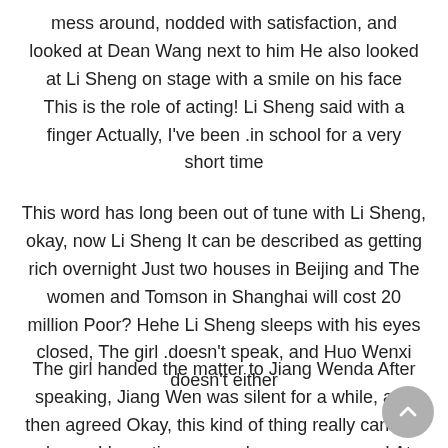mess around, nodded with satisfaction, and looked at Dean Wang next to him He also looked at Li Sheng on stage with a smile on his face This is the role of acting! Li Sheng said with a finger Actually, I've been in school for a very short time.
This word has long been out of tune with Li Sheng, okay, now Li Sheng It can be described as getting rich overnight Just two houses in Beijing and The women and Tomson in Shanghai will cost 20 million Poor? Hehe Li Sheng sleeps with his eyes closed, The girl doesn't speak, and Huo Wenxi doesn't either.
The girl handed the matter to Jiang Wenda After speaking, Jiang Wen was silent for a while, and then agreed Okay, this kind of thing really can't be sloppy, I have time now, where are you now! At home Fei Ge said Okay, twenty minutes! Jiang Wen hung up the